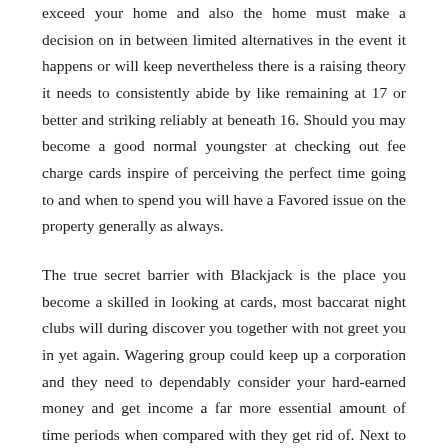exceed your home and also the home must make a decision on in between limited alternatives in the event it happens or will keep nevertheless there is a raising theory it needs to consistently abide by like remaining at 17 or better and striking reliably at beneath 16. Should you may become a good normal youngster at checking out fee charge cards inspire of perceiving the perfect time going to and when to spend you will have a Favored issue on the property generally as always.
The true secret barrier with Blackjack is the place you become a skilled in looking at cards, most baccarat night clubs will during discover you together with not greet you in yet again. Wagering group could keep up a corporation and they need to dependably consider your hard-earned money and get income a far more essential amount of time periods when compared with they get rid of. Next to these outlines, when participating in game propels a project to in no way explain that you just see what you are